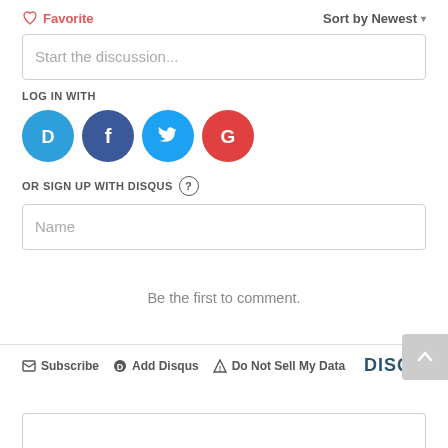♡ Favorite
Sort by Newest ▾
Start the discussion...
LOG IN WITH
[Figure (logo): Four social login icons: Disqus (blue circle with D), Facebook (dark blue circle with f), Twitter (light blue circle with bird), Google (red circle with G)]
OR SIGN UP WITH DISQUS ?
Name
Be the first to comment.
Subscribe  Add Disqus  Do Not Sell My Data  DISQU